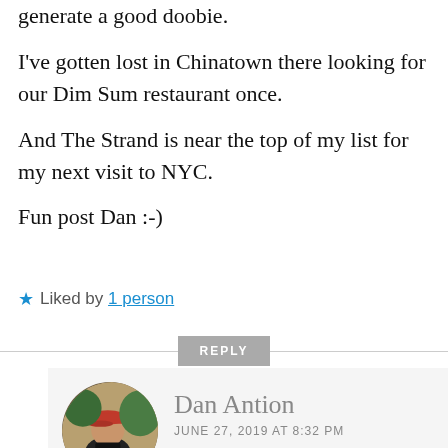generate a good doobie.
I've gotten lost in Chinatown there looking for our Dim Sum restaurant once.
And The Strand is near the top of my list for my next visit to NYC.
Fun post Dan :-)
Liked by 1 person
REPLY
Dan Antion
JUNE 27, 2019 AT 8:32 PM
[Figure (photo): Circular avatar photo of Dan Antion, a person wearing a red cap sitting on what appears to be a wooden surface outdoors]
Thanks Norm. It was a great day for gathering doors on the